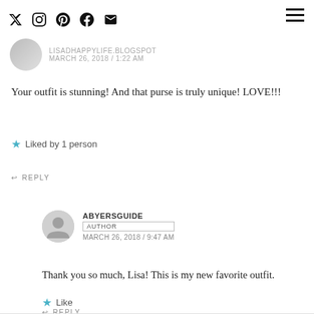Social icons and hamburger menu
LISADHAPPYLIFE.BLOGSPOT
MARCH 26, 2018 / 1:22 AM
Your outfit is stunning! And that purse is truly unique! LOVE!!!
★ Liked by 1 person
↩ REPLY
ABYERSGUIDE
AUTHOR
MARCH 26, 2018 / 9:47 AM
Thank you so much, Lisa! This is my new favorite outfit.
★ Like
↩ REPLY